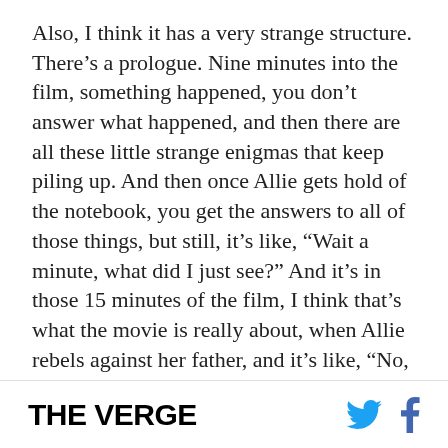Also, I think it has a very strange structure. There's a prologue. Nine minutes into the film, something happened, you don't answer what happened, and then there are all these little strange enigmas that keep piling up. And then once Allie gets hold of the notebook, you get the answers to all of those things, but still, it's like, “Wait a minute, what did I just see?” And it’s in those 15 minutes of the film, I think that’s what the movie is really about, when Allie rebels against her father, and it’s like, “No, you cannot take this away. They’re not dead; you’re the one who’s dead.” And so, for me, thematically the movie is about something other than the twists.
THE VERGE